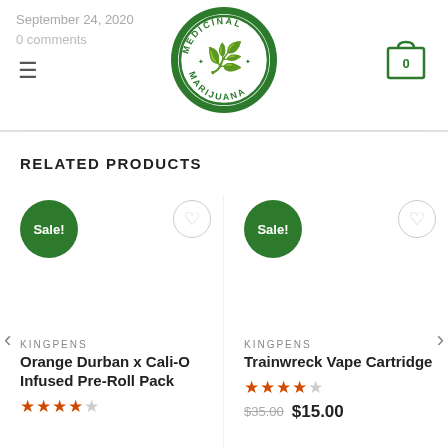September 24, 2020 / 0 comments
[Figure (logo): Medicinal Marijuana circular logo with cannabis leaf in center, green and white color scheme]
[Figure (other): Shopping cart icon with badge showing 0]
RELATED PRODUCTS
[Figure (other): Product listing: KINGPENS Orange Durban x Cali-O Infused Pre-Roll Pack with Sale badge and 4.5 star rating]
[Figure (other): Product listing: KINGPENS Trainwreck Vape Cartridge with Sale badge, 4 star rating, price $35.00 strikethrough $15.00]